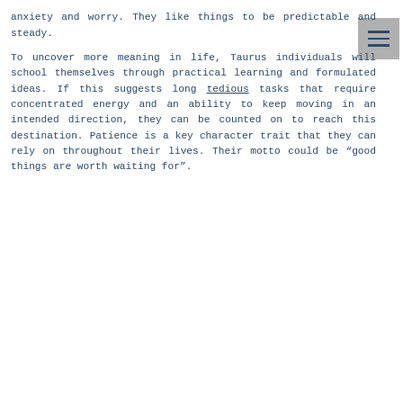anxiety and worry. They like things to be predictable and steady.

To uncover more meaning in life, Taurus individuals will school themselves through practical learning and formulated ideas. If this suggests long tedious tasks that require concentrated energy and an ability to keep moving in an intended direction, they can be counted on to reach this destination. Patience is a key character trait that they can rely on throughout their lives. Their motto could be “good things are worth waiting for”.